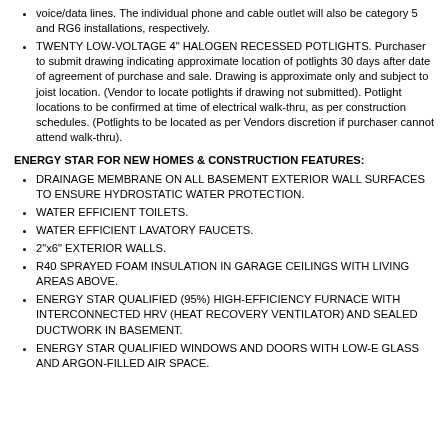voice/data lines. The individual phone and cable outlet will also be category 5 and RG6 installations, respectively.
TWENTY LOW-VOLTAGE 4" HALOGEN RECESSED POTLIGHTS. Purchaser to submit drawing indicating approximate location of potlights 30 days after date of agreement of purchase and sale. Drawing is approximate only and subject to joist location. (Vendor to locate potlights if drawing not submitted). Potlight locations to be confirmed at time of electrical walk-thru, as per construction schedules. (Potlights to be located as per Vendors discretion if purchaser cannot attend walk-thru).
ENERGY STAR FOR NEW HOMES & CONSTRUCTION FEATURES:
DRAINAGE MEMBRANE ON ALL BASEMENT EXTERIOR WALL SURFACES TO ENSURE HYDROSTATIC WATER PROTECTION.
WATER EFFICIENT TOILETS.
WATER EFFICIENT LAVATORY FAUCETS.
2"x6" EXTERIOR WALLS.
R40 SPRAYED FOAM INSULATION IN GARAGE CEILINGS WITH LIVING AREAS ABOVE.
ENERGY STAR QUALIFIED (95%) HIGH-EFFICIENCY FURNACE WITH INTERCONNECTED HRV (HEAT RECOVERY VENTILATOR) AND SEALED DUCTWORK IN BASEMENT.
ENERGY STAR QUALIFIED WINDOWS AND DOORS WITH LOW-E GLASS AND ARGON-FILLED AIR SPACE.